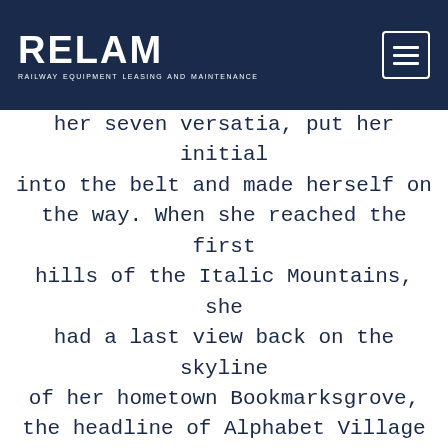RELAM — RAILWAY EQUIPMENT LEASING AND MAINTENANCE
her seven versatia, put her initial into the belt and made herself on the way. When she reached the first hills of the Italic Mountains, she had a last view back on the skyline of her hometown Bookmarksgrove, the headline of Alphabet Village and the subline of her own road, the Line Lane. Pityful a rethoric question ran over her cheek, then she continued her way. On her way she met a copy. The copy warned the Little Blind Text, that where it